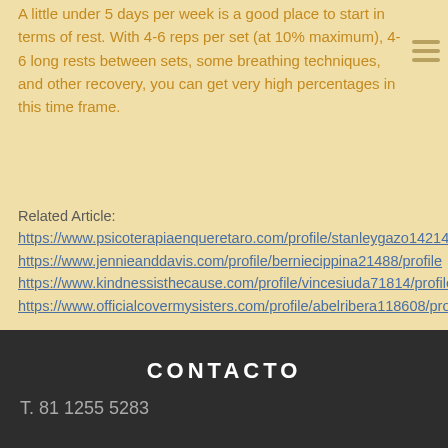A little under 5 days per week is a good place to start in terms of rest. With 4-6 reps per set (at 10% maximum), 4-6 long rests between sets, some breathing techniques, and other recovery, you can get very high percentages in this time frame.
Related Article: https://www.psicoterapiaenqueretaro.com/profile/stanleygazo142142/profile https://www.jennieanddavis.com/profile/berniecippina21488/profile https://www.kindnessisthecause.com/profile/vincesiuda71814/profile https://www.officialcovermysisters.com/profile/abelribera118608/profile
CONTACTO
T. 81 1255 5283